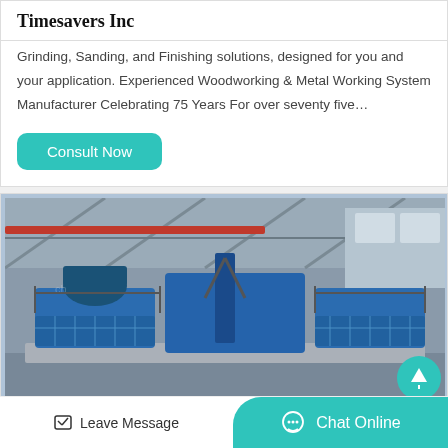Timesavers Inc
Grinding, Sanding, and Finishing solutions, designed for you and your application. Experienced Woodworking & Metal Working System Manufacturer Celebrating 75 Years For over seventy five…
Consult Now
[Figure (photo): Industrial blue heavy machinery on a platform inside a large factory warehouse with overhead cranes and steel structure roof]
Leave Message
Chat Online